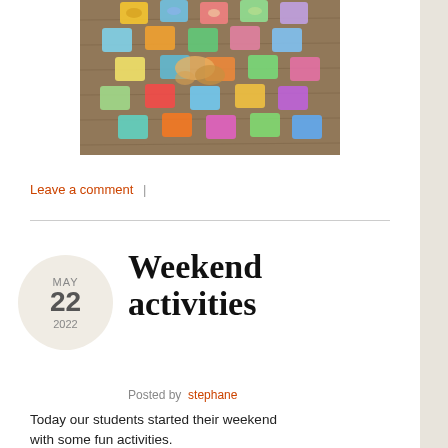[Figure (photo): Overhead view of colorful square trays/plates with food items arranged on a wooden table]
Leave a comment  |
Weekend activities
Posted by  stephane
Today our students started their weekend with some fun activities.